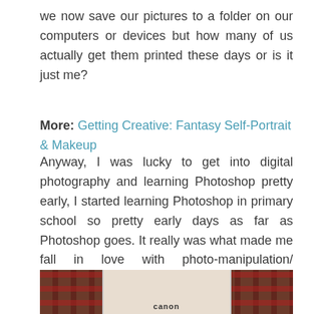we now save our pictures to a folder on our computers or devices but how many of us actually get them printed these days or is it just me?
More: Getting Creative: Fantasy Self-Portrait & Makeup
Anyway, I was lucky to get into digital photography and learning Photoshop pretty early, I started learning Photoshop in primary school so pretty early days as far as Photoshop goes. It really was what made me fall in love with photo-manipulation/ compositing, something I have dabbled with on and off over the years, and obviously more recently, it's become an integral part of how I create my images.
[Figure (photo): A photo showing printed photographs laid on a tartan/plaid fabric background, with a Canon camera visible.]